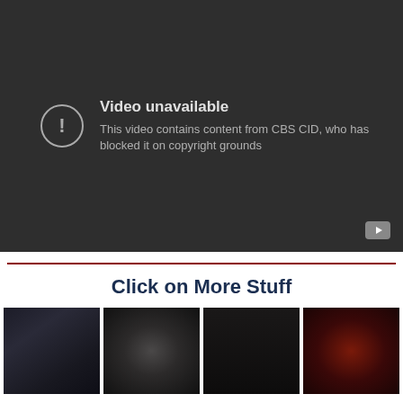[Figure (screenshot): YouTube video player showing 'Video unavailable' error message. Dark gray background with warning icon (circle with exclamation mark). Text reads 'Video unavailable' and 'This video contains content from CBS CID, who has blocked it on copyright grounds'. YouTube logo icon in bottom right corner.]
Click on More Stuff
[Figure (photo): Dark group photo of people dressed in gothic/dark clothing]
[Figure (photo): Dark creature or monster image]
[Figure (photo): Dark close-up face image]
[Figure (photo): Dark reddish-toned portrait image]